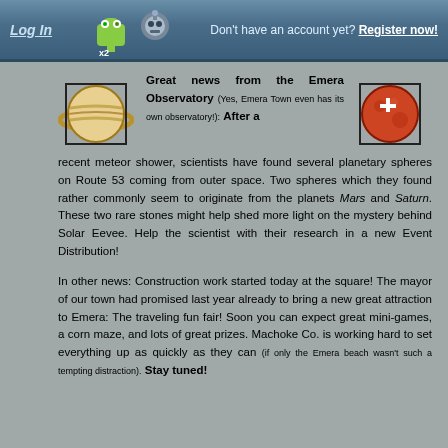Log In   Don't have an account yet? Register now!
[Figure (illustration): Pixel art Saturn-like ringed planet (golden/cream colored) on left side]
[Figure (illustration): Pixel art Mars-like red planet with white cross marking on right side]
Great news from the Emera Observatory (Yes, Emera Town even has its own observatory!): After a recent meteor shower, scientists have found several planetary spheres on Route 53 coming from outer space. Two spheres which they found rather commonly seem to originate from the planets Mars and Saturn. These two rare stones might help shed more light on the mystery behind Solar Eevee. Help the scientist with their research in a new Event Distribution!
In other news: Construction work started today at the square! The mayor of our town had promised last year already to bring a new great attraction to Emera: The traveling fun fair! Soon you can expect great mini-games, a corn maze, and lots of great prizes. Machoke Co. is working hard to set everything up as quickly as they can (if only the Emera beach wasn't such a tempting distraction). Stay tuned!